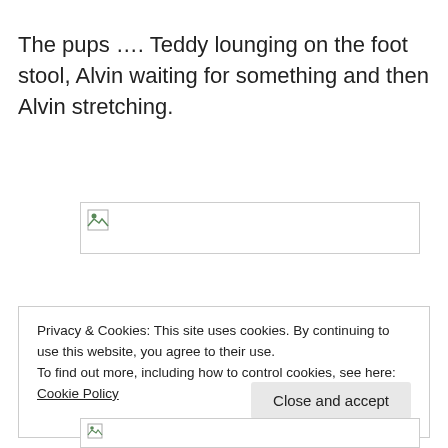The pups …. Teddy lounging on the foot stool, Alvin waiting for something and then Alvin stretching.
[Figure (photo): Broken image placeholder (failed to load image of pups)]
Privacy & Cookies: This site uses cookies. By continuing to use this website, you agree to their use.
To find out more, including how to control cookies, see here: Cookie Policy
[Figure (photo): Second broken image placeholder at bottom]